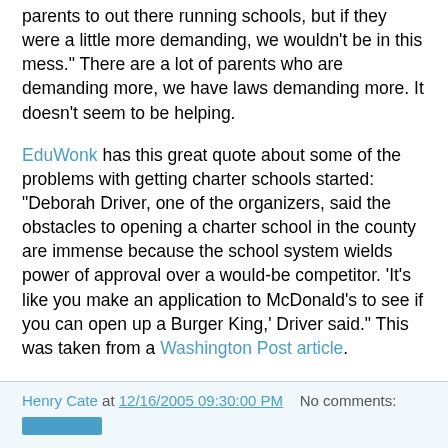parents to out there running schools, but if they were a little more demanding, we wouldn't be in this mess." There are a lot of parents who are demanding more, we have laws demanding more. It doesn't seem to be helping.
EduWonk has this great quote about some of the problems with getting charter schools started: "Deborah Driver, one of the organizers, said the obstacles to opening a charter school in the county are immense because the school system wields power of approval over a would-be competitor. 'It's like you make an application to McDonald's to see if you can open up a Burger King,' Driver said." This was taken from a Washington Post article.
On Enter Stage Right Nancy Salvato talks about some issues on school choice. She clears up some of the myths about vouchers. She argues that vouchers would improve education. I still don't think they will happen, but I would love to be wrong on this issue.
Henry Cate at 12/16/2005 09:30:00 PM   No comments: